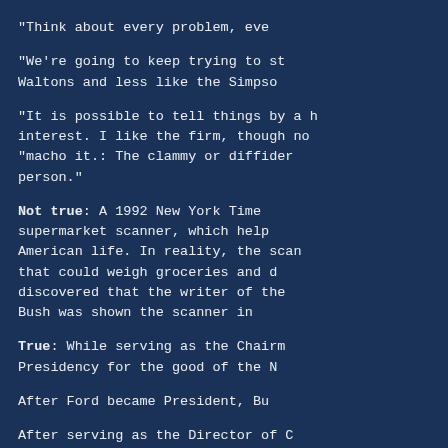“Think about every problem, eve…
“We’re going to keep trying to st… Waltons and less like the Simpso…
“It is possible to tell things by a h… interest. I like the firm, though n… “macho it.: The clammy or diffider… person.”
Not true: A 1992 New York Time… supermarket scanner, which help… American life. In reality, the scan… that could weigh groceries and d… discovered that the writer of the… Bush was shown the scanner in…
True: While serving as the Chairm… Presidency for the good of the N…
After Ford became President, Bu…
After serving as the Director of … during Carter’s administration. He…
When Reagan needed surgery or…